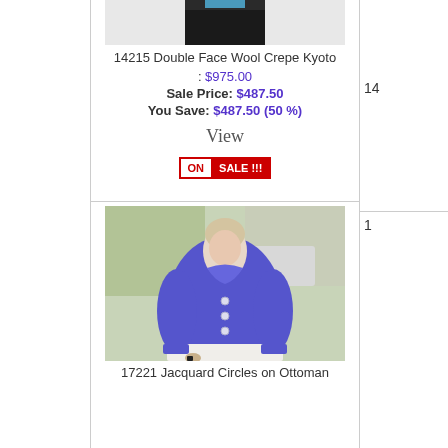[Figure (photo): Partial product photo at top center column (cropped torso in dark clothing)]
14215 Double Face Wool Crepe Kyoto
: $975.00
Sale Price: $487.50
You Save: $487.50 (50 %)
View
[Figure (infographic): ON SALE !!! badge — red bordered button with red text ON and red background SALE !!!]
[Figure (photo): Woman modeling a blue/purple Jacquard Circles on Ottoman jacket, standing outdoors]
17221 Jacquard Circles on Ottoman
1